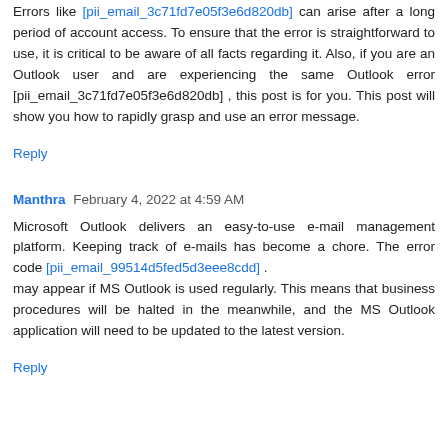Errors like [pii_email_3c71fd7e05f3e6d820db] can arise after a long period of account access. To ensure that the error is straightforward to use, it is critical to be aware of all facts regarding it. Also, if you are an Outlook user and are experiencing the same Outlook error [pii_email_3c71fd7e05f3e6d820db] , this post is for you. This post will show you how to rapidly grasp and use an error message.
Reply
Manthra  February 4, 2022 at 4:59 AM
Microsoft Outlook delivers an easy-to-use e-mail management platform. Keeping track of e-mails has become a chore. The error code [pii_email_99514d5fed5d3eee8cdd] . may appear if MS Outlook is used regularly. This means that business procedures will be halted in the meanwhile, and the MS Outlook application will need to be updated to the latest version.
Reply